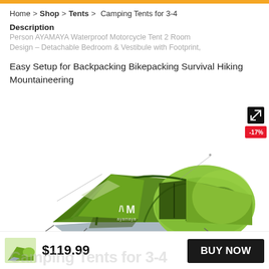Home > Shop > Tents > Camping Tents for 3-4
Description
Person AYAMAYA Waterproof Motorcycle Tent 2 Room Design – Detachable Bedroom & Vestibule with Footprint, Easy Setup for Backpacking Bikepacking Survival Hiking Mountaineering
[Figure (photo): Green AYAMAYA 2-room motorcycle/camping tent with detachable vestibule, shown fully set up with footprint, displayed against white background. Tent has dark green frame arches, light green dome bedroom section, and grey floor. AYAMAYA logo visible on front panel. Discount badge showing -17% in red on upper right corner.]
$119.99
BUY NOW
Camping Tents for 3-4